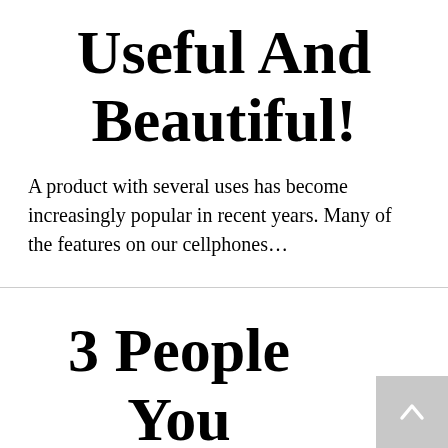Useful And Beautiful!
A product with several uses has become increasingly popular in recent years. Many of the features on our cellphones…
3 People You